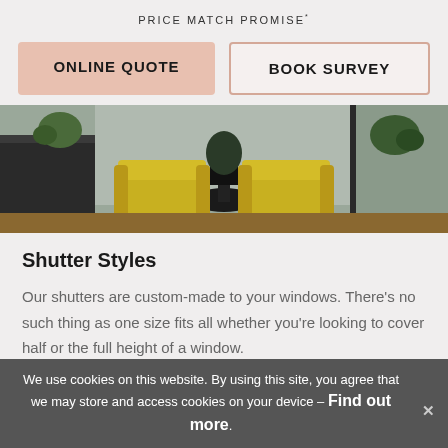PRICE MATCH PROMISE*
ONLINE QUOTE
BOOK SURVEY
[Figure (photo): Interior room scene with two yellow mid-century modern chairs facing each other with a dark table between them and plants in the background, against grey walls]
Shutter Styles
Our shutters are custom-made to your windows. There's no such thing as one size fits all whether you're looking to cover half or the full height of a window.
EXPLORE SHUTTERS STYLES →
We use cookies on this website. By using this site, you agree that we may store and access cookies on your device – Find out more.